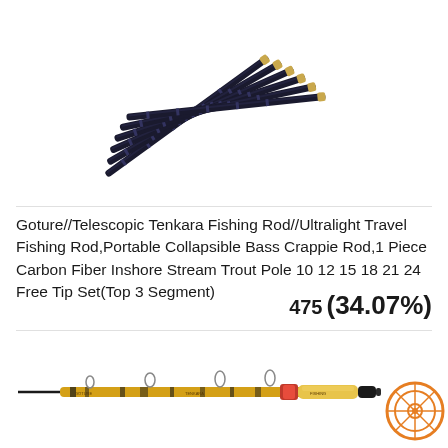[Figure (photo): Telescopic fishing rod segments fanned out, dark carbon fiber with gold/brass tips, shown from a diagonal overhead angle against white background.]
Goture//Telescopic Tenkara Fishing Rod//Ultralight Travel Fishing Rod,Portable Collapsible Bass Crappie Rod,1 Piece Carbon Fiber Inshore Stream Trout Pole 10 12 15 18 21 24 Free Tip Set(Top 3 Segment)
475 (34.07%)
[Figure (photo): A fishing rod shown horizontally, yellow/black color scheme with decorative wrapping and red accents near the handle area, against white background. An orange circular logo/badge is visible at the right end.]